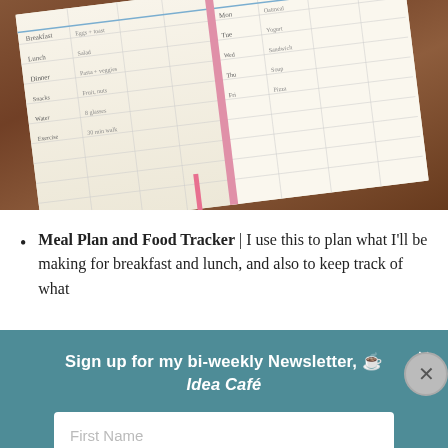[Figure (photo): Photo of an open notebook/planner with handwritten entries placed on a dark wood table. The notebook has a pink spine and binding, with handwritten meal plan or schedule entries visible across two pages.]
Meal Plan and Food Tracker | I use this to plan what I'll be making for breakfast and lunch, and also to keep track of what
[Figure (screenshot): Newsletter signup popup overlay with teal/dark cyan background. Contains text 'Sign up for my bi-weekly Newsletter, [coffee cup emoji] Idea Café', a close (×) button, and two input fields for First Name and Email Address.]
Advertisements
[Figure (photo): Bloomingdale's advertisement banner showing 'bloomingdales View Today's Top Deals!' with a woman wearing a large sun hat and 'SHOP NOW >' button.]